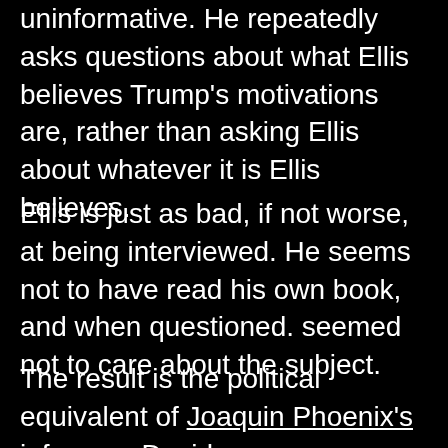uninformative. He repeatedly asks questions about what Ellis believes Trump's motivations are, rather than asking Ellis about whatever it is Ellis believes.
Ellis is just as bad, if not worse, at being interviewed. He seems not to have read his own book, and when questioned. seemed not to care about the subject.
The result is the political equivalent of Joaquin Phoenix's infamous David Letterman interview, except not as